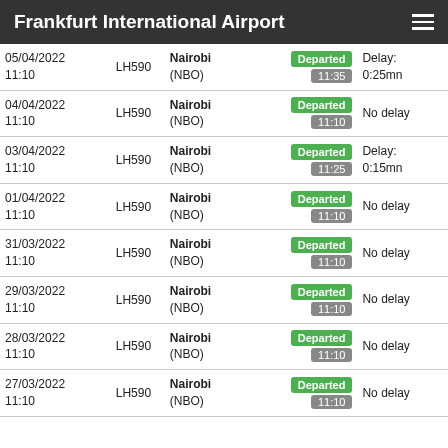Frankfurt International Airport
| Date/Time | Flight | Destination | Status | Delay |
| --- | --- | --- | --- | --- |
| 05/04/2022 11:10 | LH590 | Nairobi (NBO) | Departed 11:35 | Delay: 0:25mn |
| 04/04/2022 11:10 | LH590 | Nairobi (NBO) | Departed 11:10 | No delay |
| 03/04/2022 11:10 | LH590 | Nairobi (NBO) | Departed 11:25 | Delay: 0:15mn |
| 01/04/2022 11:10 | LH590 | Nairobi (NBO) | Departed 11:10 | No delay |
| 31/03/2022 11:10 | LH590 | Nairobi (NBO) | Departed 11:10 | No delay |
| 29/03/2022 11:10 | LH590 | Nairobi (NBO) | Departed 11:10 | No delay |
| 28/03/2022 11:10 | LH590 | Nairobi (NBO) | Departed 11:10 | No delay |
| 27/03/2022 11:10 | LH590 | Nairobi (NBO) | Departed 11:10 | No delay |